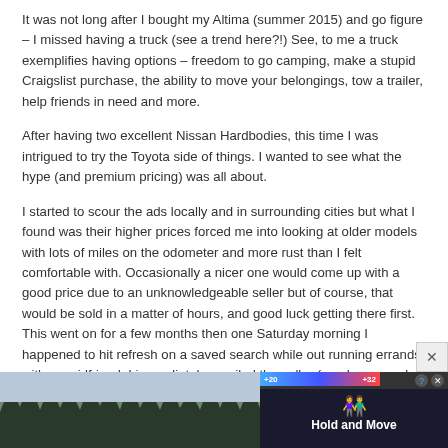It was not long after I bought my Altima (summer 2015) and go figure – I missed having a truck (see a trend here?!) See, to me a truck exemplifies having options – freedom to go camping, make a stupid Craigslist purchase, the ability to move your belongings, tow a trailer, help friends in need and more.
After having two excellent Nissan Hardbodies, this time I was intrigued to try the Toyota side of things. I wanted to see what the hype (and premium pricing) was all about.
I started to scour the ads locally and in surrounding cities but what I found was their higher prices forced me into looking at older models with lots of miles on the odometer and more rust than I felt comfortable with. Occasionally a nicer one would come up with a good price due to an unknowledgeable seller but of course, that would be sold in a matter of hours, and good luck getting there first. This went on for a few months then one Saturday morning I happened to hit refresh on a saved search while out running errands with my girlfriend. I immediately emailed the seller (no phone number was listed) despite the ad being up for a few hours at that point. I knew how desirable these trucks were and I was likely not first in his queue to reply back to so I did not hold my breath – this is a pattern that had played over and over before with other trucks.
But, muc… had abo…
[Figure (photo): Advertisement overlay with 'Hold and Move' app banner over an outdoor nature photo, with close button and score bar showing +20 and +32]